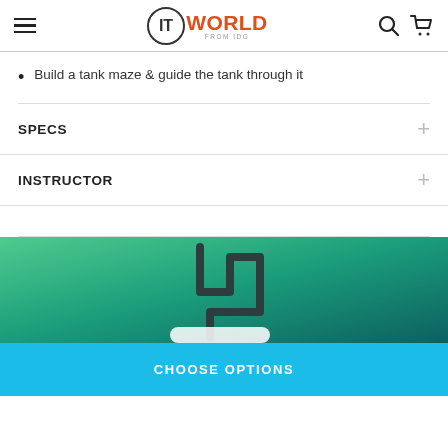IT WORLD FROM IDG
Build a tank maze & guide the tank through it
SPECS
INSTRUCTOR
[Figure (illustration): Green gradient background with a dark winding path/maze shape in the center, suggesting a tank maze game interface.]
CHOOSE OPTIONS